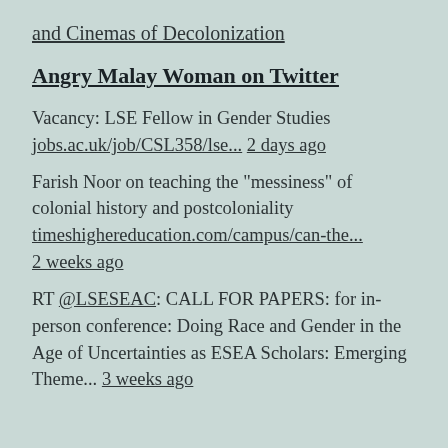and Cinemas of Decolonization
Angry Malay Woman on Twitter
Vacancy: LSE Fellow in Gender Studies jobs.ac.uk/job/CSL358/lse... 2 days ago
Farish Noor on teaching the "messiness" of colonial history and postcoloniality timeshighereducation.com/campus/can-the... 2 weeks ago
RT @LSESEAC: CALL FOR PAPERS: for in-person conference: Doing Race and Gender in the Age of Uncertainties as ESEA Scholars: Emerging Theme... 3 weeks ago